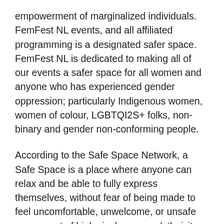empowerment of marginalized individuals. FemFest NL events, and all affiliated programming is a designated safer space. FemFest NL is dedicated to making all of our events a safer space for all women and anyone who has experienced gender oppression; particularly Indigenous women, women of colour, LGBTQI2S+ folks, non-binary and gender non-conforming people.
According to the Safe Space Network, a Safe Space is a place where anyone can relax and be able to fully express themselves, without fear of being made to feel uncomfortable, unwelcome, or unsafe on account of biological sex, race/ethnicity, sexual orientation, gender identity or expression, cultural background, religious affiliation or spiritual belief, age, physical or mental ability, family status, source of income, real of perceived socioeconomic status, or lived experience. FemFest NL